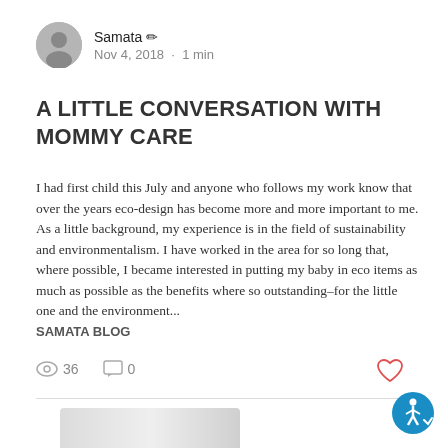Samata · Nov 4, 2018 · 1 min
A LITTLE CONVERSATION WITH MOMMY CARE
I had first child this July and anyone who follows my work know that over the years eco-design has become more and more important to me. As a little background, my experience is in the field of sustainability and environmentalism. I have worked in the area for so long that, where possible, I became interested in putting my baby in eco items as much as possible as the benefits where so outstanding–for the little one and the environment... SAMATA BLOG
36 views · 0 comments